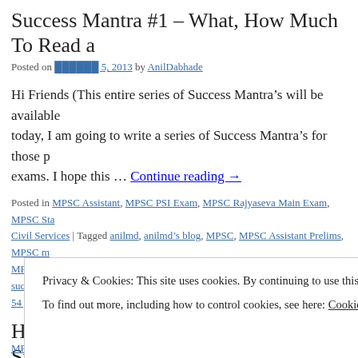Success Mantra #1 – What, How Much To Read a
Posted on ██████ 5, 2013 by AnilDabhade
Hi Friends (This entire series of Success Mantra's will be available today, I am going to write a series of Success Mantra's for those p exams. I hope this ... Continue reading →
Posted in MPSC Assistant, MPSC PSI Exam, MPSC Rajyaseva Main Exam, MPSC Sta Civil Services | Tagged anilmd, anilmd's blog, MPSC, MPSC Assistant Prelims, MPSC r MPSC Rajyaseva Purvapariksha, mpsc syllabus, PSI Exam, STI Prelims 2012, success m 54 ██████████
How To Train Your Mind For Mental Stress Duri
Posted on █████ 29, 2013 by AnilDabhade
Privacy & Cookies: This site uses cookies. By continuing to use this website, you agree to their use.
To find out more, including how to control cookies, see here: Cookie Policy
Close and accept
MPSC 54/42 ████████████